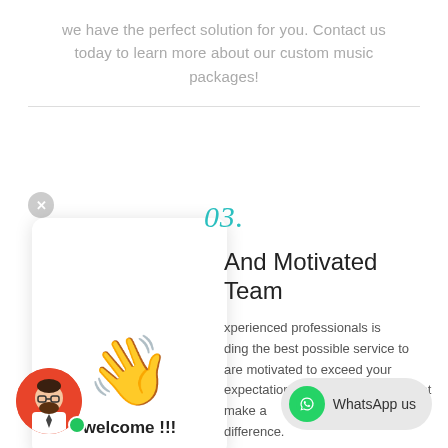we have the perfect solution for you. Contact us today to learn more about our custom music packages!
[Figure (illustration): Chat widget popup with waving hand emoji and welcome text]
03.
And Motivated Team
xperienced professionals is ding the best possible service to are motivated to exceed your expectations and deliver results that make a difference.
[Figure (illustration): Avatar of a bearded man with glasses wearing a tie on red/orange background with green online indicator dot]
[Figure (illustration): WhatsApp us button with green phone icon]